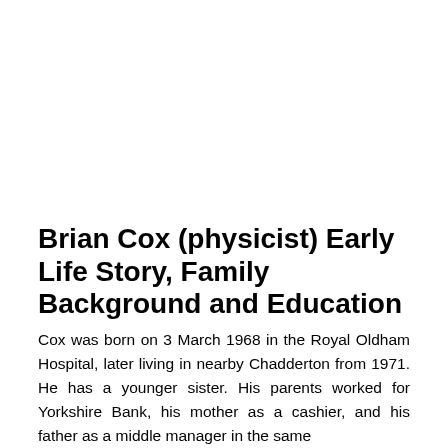Brian Cox (physicist) Early Life Story, Family Background and Education
Cox was born on 3 March 1968 in the Royal Oldham Hospital, later living in nearby Chadderton from 1971. He has a younger sister. His parents worked for Yorkshire Bank, his mother as a cashier, and his father as a middle manager in the same